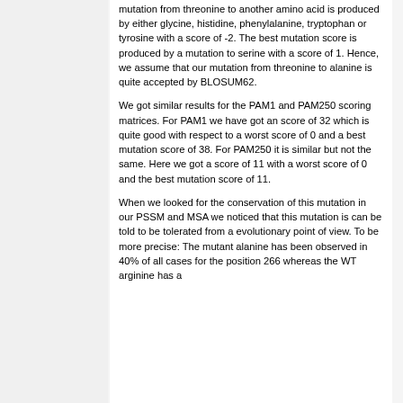mutation from threonine to another amino acid is produced by either glycine, histidine, phenylalanine, tryptophan or tyrosine with a score of -2. The best mutation score is produced by a mutation to serine with a score of 1. Hence, we assume that our mutation from threonine to alanine is quite accepted by BLOSUM62.
We got similar results for the PAM1 and PAM250 scoring matrices. For PAM1 we have got an score of 32 which is quite good with respect to a worst score of 0 and a best mutation score of 38. For PAM250 it is similar but not the same. Here we got a score of 11 with a worst score of 0 and the best mutation score of 11.
When we looked for the conservation of this mutation in our PSSM and MSA we noticed that this mutation is can be told to be tolerated from a evolutionary point of view. To be more precise: The mutant alanine has been observed in 40% of all cases for the position 266 whereas the WT arginine has a...